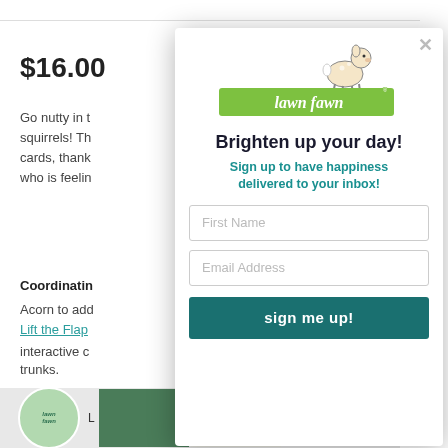$16.00
Go nutty in t… squirrels! Th… cards, thank… who is feelin…
Coordinatin…
Acorn to add…
Lift the Flap…
interactive c… trunks.
Coordinatin…
Cuts
This website use… the best experie…
Learn more
[Figure (logo): Lawn Fawn logo with a deer illustration above a green banner reading 'lawn fawn']
Brighten up your day!
Sign up to have happiness delivered to your inbox!
First Name
Email Address
sign me up!
[Figure (photo): Lawn Fawn circular logo badge and product card images at the bottom of the page]